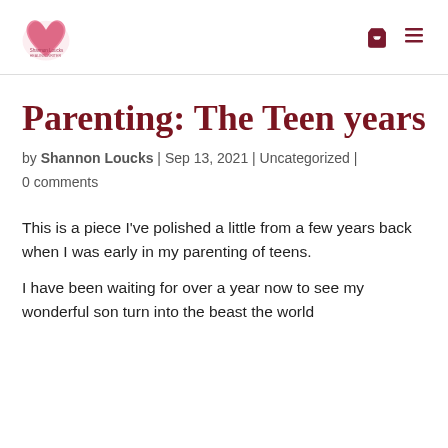[Figure (logo): Pink watercolor heart logo with Shannon Loucks text]
Parenting: The Teen years
by Shannon Loucks | Sep 13, 2021 | Uncategorized | 0 comments
This is a piece I've polished a little from a few years back when I was early in my parenting of teens.
I have been waiting for over a year now to see my wonderful son turn into the beast the world